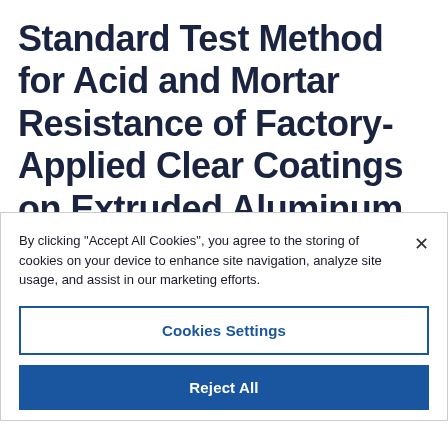Standard Test Method for Acid and Mortar Resistance of Factory-Applied Clear Coatings on Extruded Aluminum Products
By clicking “Accept All Cookies”, you agree to the storing of cookies on your device to enhance site navigation, analyze site usage, and assist in our marketing efforts.
Cookies Settings
Reject All